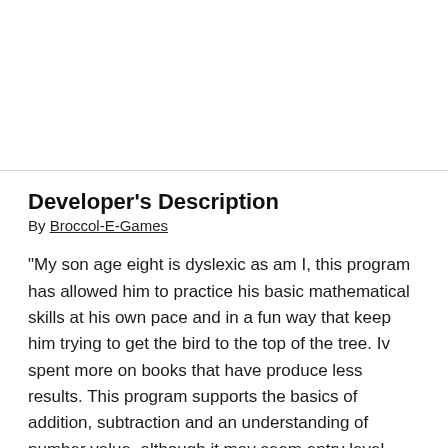Developer's Description
By Broccol-E-Games
"My son age eight is dyslexic as am I, this program has allowed him to practice his basic mathematical skills at his own pace and in a fun way that keep him trying to get the bird to the top of the tree. Iv spent more on books that have produce less results. This program supports the basics of addition, subtraction and an understanding of number value, although it may seem entry level, which may be appropriate to a younger age for basic support skills I